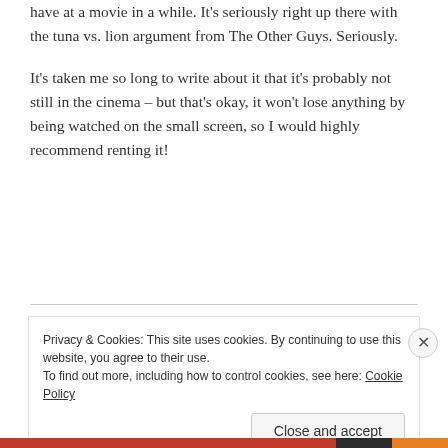have at a movie in a while. It's seriously right up there with the tuna vs. lion argument from The Other Guys. Seriously.
It's taken me so long to write about it that it's probably not still in the cinema – but that's okay, it won't lose anything by being watched on the small screen, so I would highly recommend renting it!
Privacy & Cookies: This site uses cookies. By continuing to use this website, you agree to their use.
To find out more, including how to control cookies, see here: Cookie Policy
Close and accept